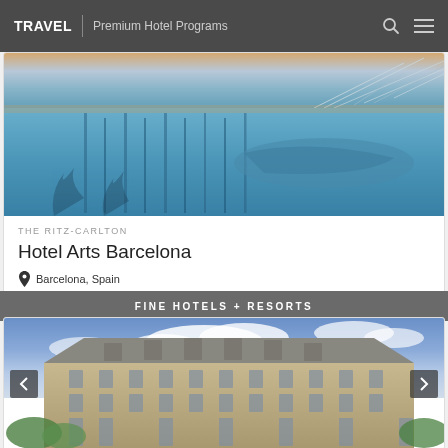TRAVEL | Premium Hotel Programs
[Figure (photo): Hotel Arts Barcelona rooftop infinity pool with blue water reflections and architectural structures at dusk]
THE RITZ-CARLTON
Hotel Arts Barcelona
Barcelona, Spain
FINE HOTELS + RESORTS
[Figure (photo): Classic European hotel building exterior with Haussmann-style architecture, blue sky and trees in foreground]